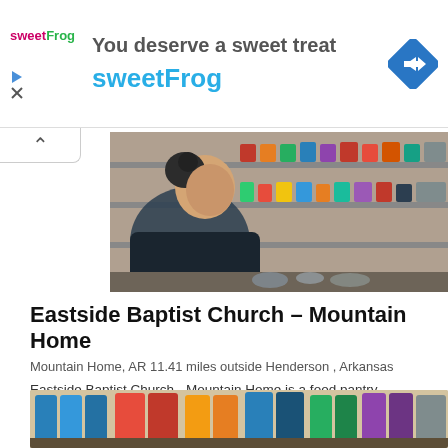[Figure (screenshot): SweetFrog advertisement banner with logo and navigation icon]
[Figure (photo): Woman at food pantry, looking at shelves stocked with canned goods and food items]
Eastside Baptist Church - Mountain Home
Mountain Home, AR 11.41 miles outside Henderson , Arkansas
Eastside Baptist Church - Mountain Home is a food pantry. Documentation Required: Drivers license or photo ID, proof of income, proof of residency, Social Security card.Food pantry service [...]
[Figure (photo): Food pantry shelves with packaged goods including paper towels, canned items, and boxed products]